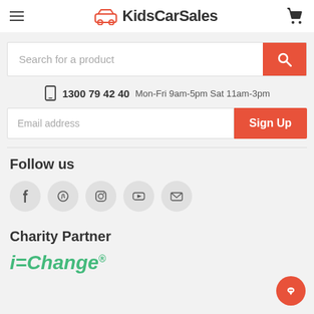KidsCarSales
Search for a product
1300 79 42 40  Mon-Fri 9am-5pm Sat 11am-3pm
Email address  Sign Up
Follow us
[Figure (infographic): Social media icons: Facebook, Pinterest, Instagram, YouTube, Email]
Charity Partner
i=Change®